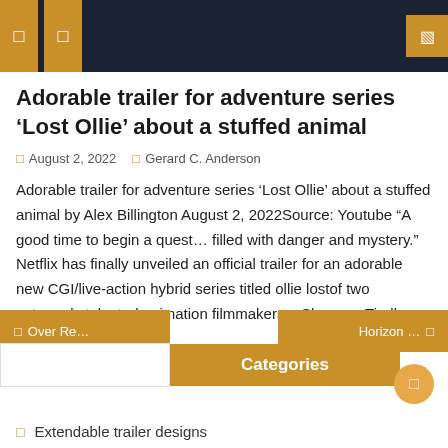Navigation header bar with icons
Adorable trailer for adventure series ‘Lost Ollie’ about a stuffed animal
August 2, 2022   Gerard C. Anderson
Adorable trailer for adventure series ‘Lost Ollie’ about a stuffed animal by Alex Billington August 2, 2022Source: Youtube “A good time to begin a quest… filled with danger and mystery.” Netflix has finally unveiled an official trailer for an adorable new CGI/live-action hybrid series titled ollie lostof two extremely talented animation filmmakers – Shannon Tindle [...]
Over Re... | Categories | Horizon ...
Extendable trailer designs